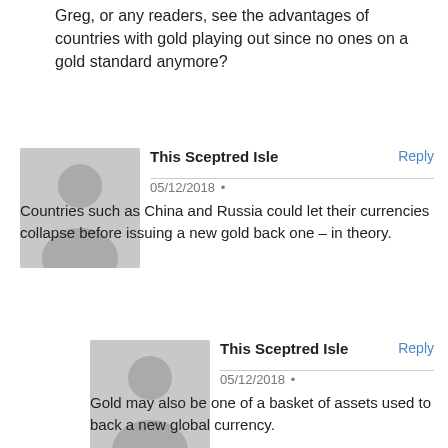Greg, or any readers, see the advantages of countries with gold playing out since no ones on a gold standard anymore?
This Sceptred Isle
05/12/2018
Countries such as China and Russia could let their currencies collapse before issuing a new gold back one – in theory.
This Sceptred Isle
05/12/2018
Gold may also be one of a basket of assets used to back a new global currency.
John
05/12/2018
Well if you get a country is big as